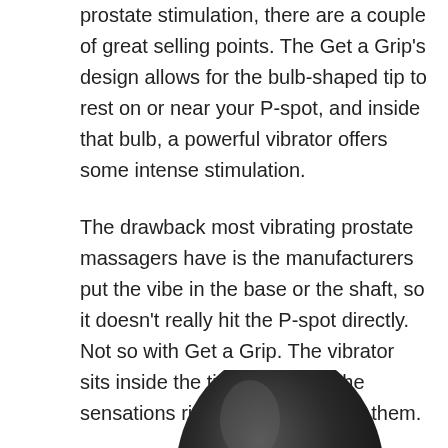prostate stimulation, there are a couple of great selling points. The Get a Grip's design allows for the bulb-shaped tip to rest on or near your P-spot, and inside that bulb, a powerful vibrator offers some intense stimulation.
The drawback most vibrating prostate massagers have is the manufacturers put the vibe in the base or the shaft, so it doesn't really hit the P-spot directly. Not so with Get a Grip. The vibrator sits inside the tip, so you get the sensations right where you want them.
[Figure (photo): Partial view of a dark gray/black bulb-shaped prostate massager device against a white background]